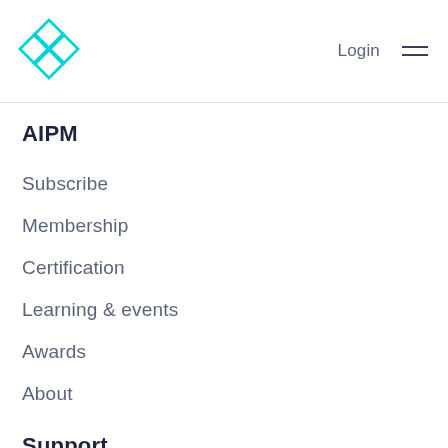[Figure (logo): AIPM cyan diamond/grid logo in the top-left corner]
Login
[Figure (other): Hamburger menu icon with three horizontal lines]
AIPM
Subscribe
Membership
Certification
Learning & events
Awards
About
Support